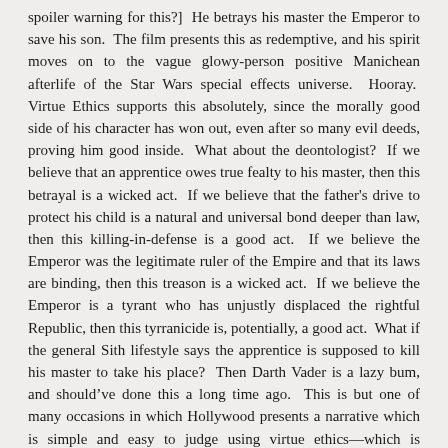spoiler warning for this?]  He betrays his master the Emperor to save his son.  The film presents this as redemptive, and his spirit moves on to the vague glowy-person positive Manichean afterlife of the Star Wars special effects universe.  Hooray.  Virtue Ethics supports this absolutely, since the morally good side of his character has won out, even after so many evil deeds, proving him good inside.  What about the deontologist?  If we believe that an apprentice owes true fealty to his master, then this betrayal is a wicked act.  If we believe that the father's drive to protect his child is a natural and universal bond deeper than law, then this killing-in-defense is a good act.  If we believe the Emperor was the legitimate ruler of the Empire and that its laws are binding, then this treason is a wicked act.  If we believe the Emperor is a tyrant who has unjustly displaced the rightful Republic, then this tyrranicide is, potentially, a good act.  What if the general Sith lifestyle says the apprentice is supposed to kill his master to take his place?  Then Darth Vader is a lazy bum, and should've done this a long time ago.  This is but one of many occasions in which Hollywood presents a narrative which is simple and easy to judge using virtue ethics—which is presumed to be the default in today's audience—but much more complex if deontology rears its head.
Or worse, the dreaded utilitarianism.
[Figure (photo): Partial circular image, appears to be a close-up photograph, greyscale tones visible at bottom right of page]